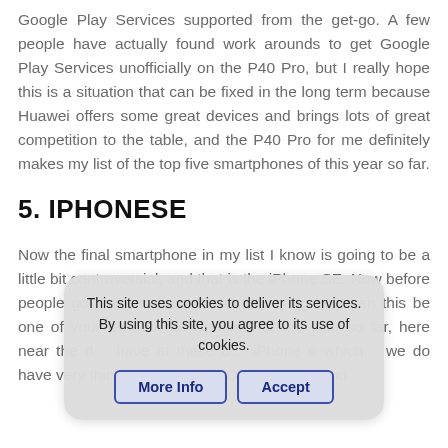Google Play Services supported from the get-go. A few people have actually found work arounds to get Google Play Services unofficially on the P40 Pro, but I really hope this is a situation that can be fixed in the long term because Huawei offers some great devices and brings lots of great competition to the table, and the P40 Pro for me definitely makes my list of the top five smartphones of this year so far.
5. IPHONESE
Now the final smartphone in my list I know is going to be a little bit controversial, and that is the iPhone SE. Now before people go crazy in the comments saying how can this be one of your favorite smartphones of the year so far, here near the d… have at these d… iPhone 6 which… we do have very thick bezels with LCD technology and
This site uses cookies to deliver its services. By using this site, you agree to its use of cookies.